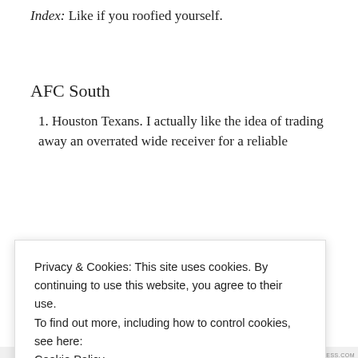Index: Like if you roofied yourself.
AFC South
1. Houston Texans. I actually like the idea of trading away an overrated wide receiver for a reliable
Privacy & Cookies: This site uses cookies. By continuing to use this website, you agree to their use.
To find out more, including how to control cookies, see here:
Cookie Policy
Close and accept